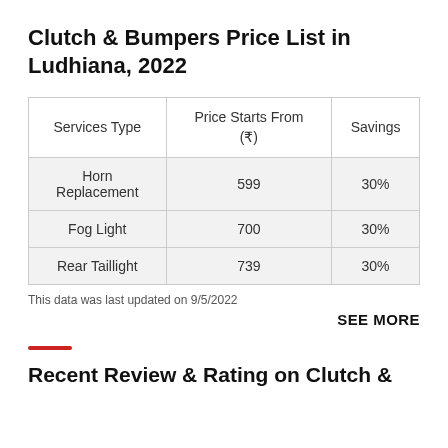Clutch & Bumpers Price List in Ludhiana, 2022
| Services Type | Price Starts From (₹) | Savings |
| --- | --- | --- |
| Horn Replacement | 599 | 30% |
| Fog Light | 700 | 30% |
| Rear Taillight | 739 | 30% |
This data was last updated on 9/5/2022
SEE MORE
Recent Review & Rating on Clutch &